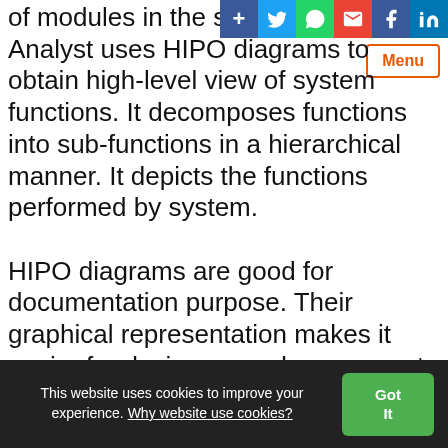of modules in the software system. Analyst uses HIPO diagrams to obtain high-level view of system functions. It decomposes functions into sub-functions in a hierarchical manner. It depicts the functions performed by system.
[Figure (screenshot): Social share bar with buttons: plus, Twitter, WhatsApp, Gmail, Facebook, LinkedIn]
[Figure (screenshot): Menu button with orange border]
HIPO diagrams are good for documentation purpose. Their graphical representation makes it easier for designers and managers to get the pictorial idea of the system structure
This website uses cookies to improve your experience. Why website use cookies? Got It